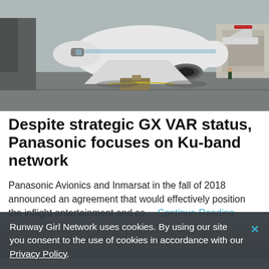[Figure (photo): Airplane parked at airport gate, front nose and two engines visible, jetway attached on right side, tarmac and airport ground equipment visible]
Despite strategic GX VAR status, Panasonic focuses on Ku-band network
Panasonic Avionics and Inmarsat in the fall of 2018 announced an agreement that would effectively position the inflight entertainment and co... Continue Reading
[Figure (photo): Partial view of second article image, light beige/grey sky with aircraft visible]
Runway Girl Network uses cookies. By using our site you consent to the use of cookies in accordance with our Privacy Policy.